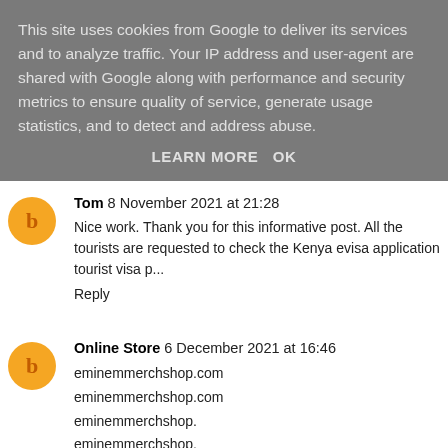This site uses cookies from Google to deliver its services and to analyze traffic. Your IP address and user-agent are shared with Google along with performance and security metrics to ensure quality of service, generate usage statistics, and to detect and address abuse.
LEARN MORE    OK
Tom  8 November 2021 at 21:28
Nice work. Thank you for this informative post. All the tourists are requested to check the Kenya evisa application tourist visa p...
Reply
Online Store  6 December 2021 at 16:46
eminemmerchshop.com
eminemmerchshop.com
eminemmerchshop.
eminemmerchshop.
eminem hoodie
eminem t shirt
Shop here
Shop Here